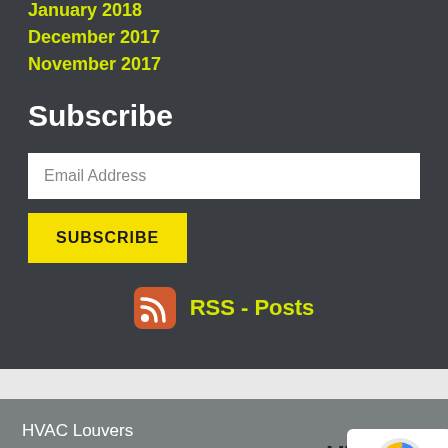January 2018
December 2017
November 2017
Subscribe
Email Address
SUBSCRIBE
[Figure (logo): RSS icon with RSS - Posts link]
HVAC Louvers
Custom Enclosure Louvers
Custom Gate Louvers
Aluminum Fabricated Louvers
[Figure (logo): Hercules logo in dark section]